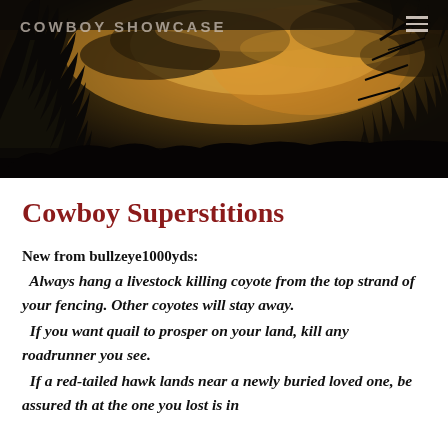[Figure (photo): Dark atmospheric sunset/dusk sky with clouds lit golden-orange, silhouetted trees and branches in foreground. Website header image for Cowboy Showcase.]
COWBOY SHOWCASE
Cowboy Superstitions
New from bullzeye1000yds:
Always hang a livestock killing coyote from the top strand of your fencing. Other coyotes will stay away.
If you want quail to prosper on your land, kill any roadrunner you see.
If a red-tailed hawk lands near a newly buried loved one, be assured th at the one you lost is in